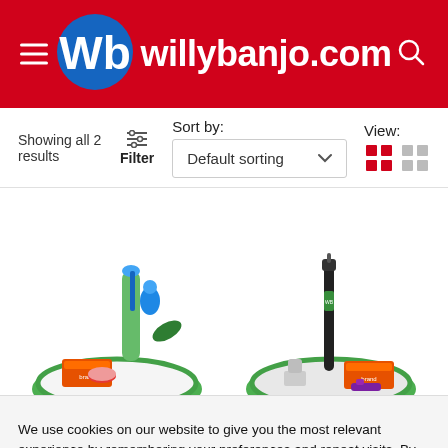willybanjo.com
Showing all 2 results  Filter  Sort by: Default sorting  View:
[Figure (photo): Two product bundles on green silicone mats: left bundle includes a colorful bong and accessories, right bundle includes a black dab pen and accessories.]
We use cookies on our website to give you the most relevant experience by remembering your preferences and repeat visits. By clicking "Accept All", you consent to the use of ALL the cookies. However, you may visit "Cookie